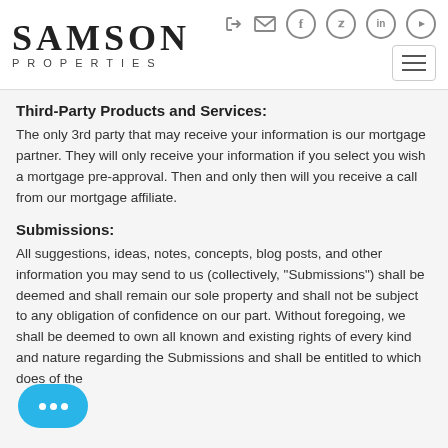[Figure (logo): Samson Properties logo with stylized serif SAMSON text and PROPERTIES in spaced caps beneath]
[Figure (infographic): Navigation icons: login, email, Facebook, Twitter, LinkedIn, YouTube in circles, plus hamburger menu button]
Third-Party Products and Services:
The only 3rd party that may receive your information is our mortgage partner. They will only receive your information if you select you wish a mortgage pre-approval. Then and only then will you receive a call from our mortgage affiliate.
Submissions:
All suggestions, ideas, notes, concepts, blog posts, and other information you may send to us (collectively, "Submissions") shall be deemed and shall remain our sole property and shall not be subject to any obligation of confidence on our part. Without foregoing, we shall be deemed to own all known and existing rights of every kind and nature regarding the Submissions and shall be entitled to which does of the